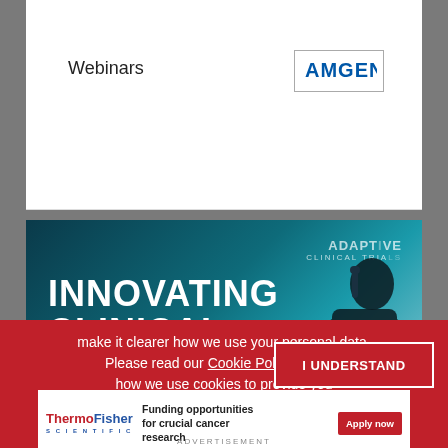Innovating Clinical Trials Q&A
Webinars
[Figure (logo): AMGEN logo in blue text inside a bordered box]
[Figure (photo): Dark teal-themed webinar banner image with bold white text reading INNOVATING CLINICAL TRIALS and silhouette of a person wearing headphones. Overlay text: ADAPTIVE CLINICAL TRIALS. The Scientist branding at bottom.]
make it clearer how we use your personal data.
Please read our Cookie Policy to learn how we use cookies to provide you
I UNDERSTAND
[Figure (logo): ThermoFisher Scientific logo]
Funding opportunities for crucial cancer research
Apply now
ADVERTISEMENT